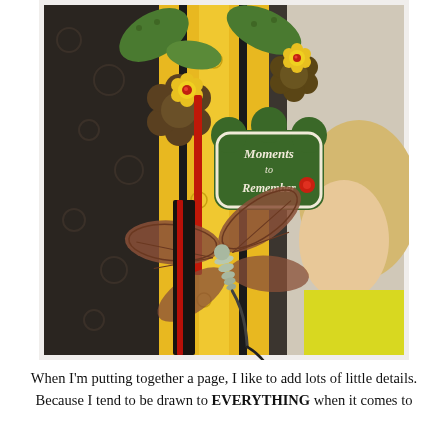[Figure (photo): A scrapbook page with decorative elements including paper flowers with red gem centers, green leaves, a dragonfly embellishment, a decorative tag reading 'Moments to Remember', all on yellow striped and dark floral patterned paper backgrounds, with a partial photo of a blonde girl in yellow on the right side.]
When I'm putting together a page, I like to add lots of little details. Because I tend to be drawn to EVERYTHING when it comes to